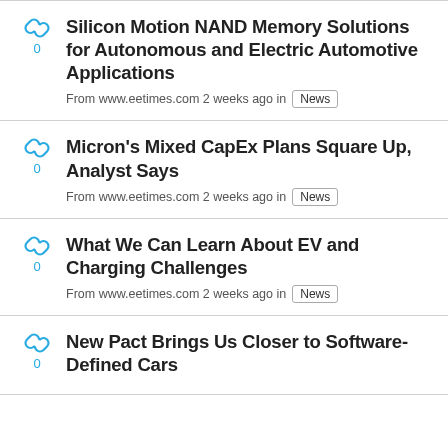Silicon Motion NAND Memory Solutions for Autonomous and Electric Automotive Applications
From www.eetimes.com 2 weeks ago in News
Micron's Mixed CapEx Plans Square Up, Analyst Says
From www.eetimes.com 2 weeks ago in News
What We Can Learn About EV and Charging Challenges
From www.eetimes.com 2 weeks ago in News
New Pact Brings Us Closer to Software-Defined Cars